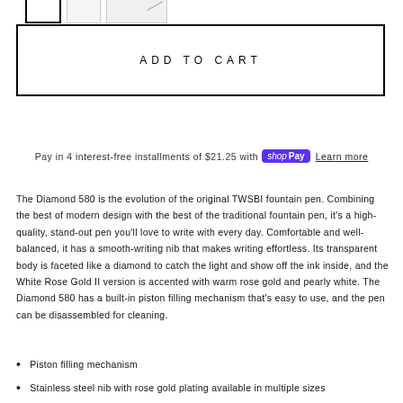[Figure (other): Three thumbnail image selectors at top: first with black border (selected), second plain, third wide with diagonal line]
ADD TO CART
Pay in 4 interest-free installments of $21.25 with Shop Pay Learn more
The Diamond 580 is the evolution of the original TWSBI fountain pen. Combining the best of modern design with the best of the traditional fountain pen, it's a high-quality, stand-out pen you'll love to write with every day. Comfortable and well-balanced, it has a smooth-writing nib that makes writing effortless. Its transparent body is faceted like a diamond to catch the light and show off the ink inside, and the White Rose Gold II version is accented with warm rose gold and pearly white. The Diamond 580 has a built-in piston filling mechanism that's easy to use, and the pen can be disassembled for cleaning.
Piston filling mechanism
Stainless steel nib with rose gold plating available in multiple sizes